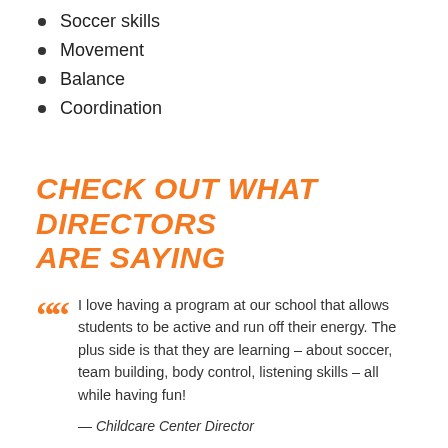Soccer skills
Movement
Balance
Coordination
CHECK OUT WHAT DIRECTORS ARE SAYING
I love having a program at our school that allows students to be active and run off their energy. The plus side is that they are learning – about soccer, team building, body control, listening skills – all while having fun!
— Childcare Center Director